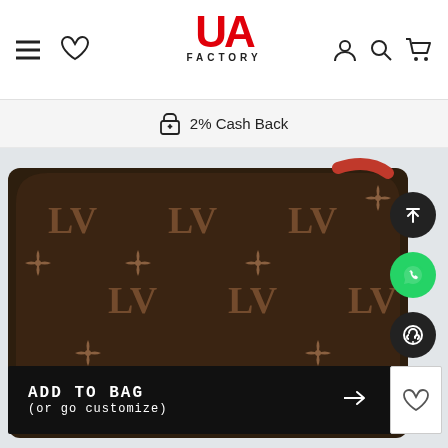UA Factory — navigation header with hamburger menu, wishlist, logo, account, search, cart icons
2% Cash Back
[Figure (photo): Louis Vuitton monogram canvas bag bottom, showing LV logo pattern in brown with dark background, partial red leather trim visible]
ADD TO BAG
(or go customize)